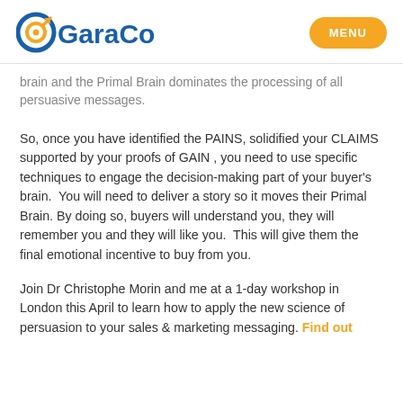OGaraCo — MENU
brain and the Primal Brain dominates the processing of all persuasive messages.
So, once you have identified the PAINS, solidified your CLAIMS supported by your proofs of GAIN , you need to use specific techniques to engage the decision-making part of your buyer's brain.  You will need to deliver a story so it moves their Primal Brain. By doing so, buyers will understand you, they will remember you and they will like you.  This will give them the final emotional incentive to buy from you.
Join Dr Christophe Morin and me at a 1-day workshop in London this April to learn how to apply the new science of persuasion to your sales & marketing messaging. Find out